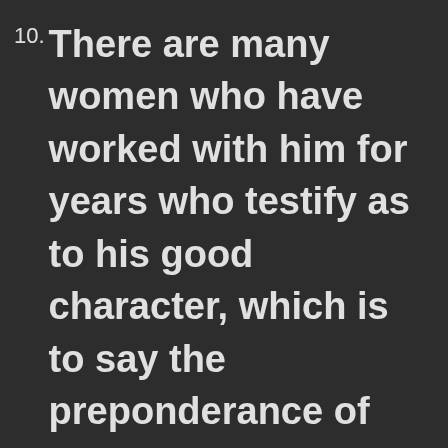10. There are many women who have worked with him for years who testify as to his good character, which is to say the preponderance of female testimony places in question the integrity of the women who allege that Brett committed such acts. He in no way denies that Mrs. Ford may have been subjected to sexual assault by someone, at some place, at